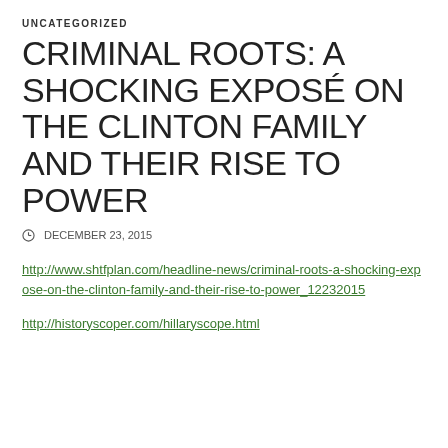UNCATEGORIZED
CRIMINAL ROOTS: A SHOCKING EXPOSÉ ON THE CLINTON FAMILY AND THEIR RISE TO POWER
⊙ DECEMBER 23, 2015
http://www.shtfplan.com/headline-news/criminal-roots-a-shocking-expose-on-the-clinton-family-and-their-rise-to-power_12232015
http://historyscoper.com/hillaryscope.html